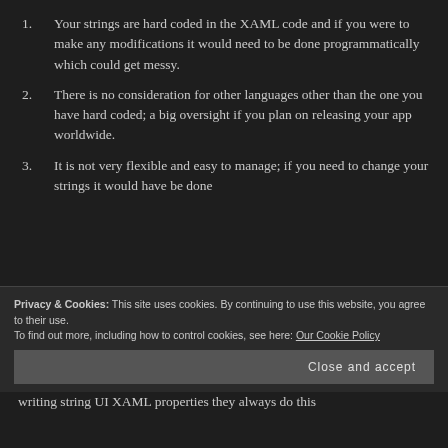1. Your strings are hard coded in the XAML code and if you were to make any modifications it would need to be done programmatically which could get messy.
2. There is no consideration for other languages other than the one you have hard coded; a big oversight if you plan on releasing your app worldwide.
3. It is not very flexible and easy to manage; if you need to change your strings it would have be done
Privacy & Cookies: This site uses cookies. By continuing to use this website, you agree to their use.
To find out more, including how to control cookies, see here: Our Cookie Policy
writing string UI XAML properties they always do this